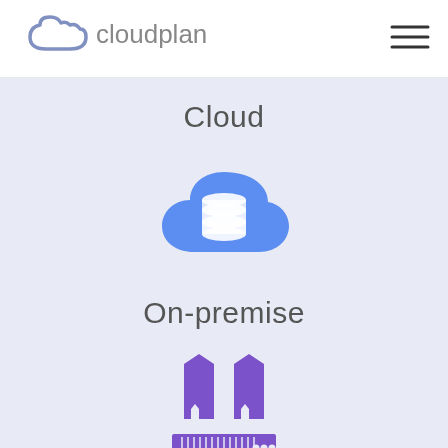[Figure (logo): Cloudplan logo: cloud icon outline in blue-gray followed by 'cloudplan' text in gray]
[Figure (illustration): Hamburger menu icon (three horizontal lines) in dark gray]
Cloud
[Figure (illustration): Blue cloud icon with white database/cylinder stack inside it]
On-premise
[Figure (illustration): Purple server/building icon with two towers and a rack base with dots]